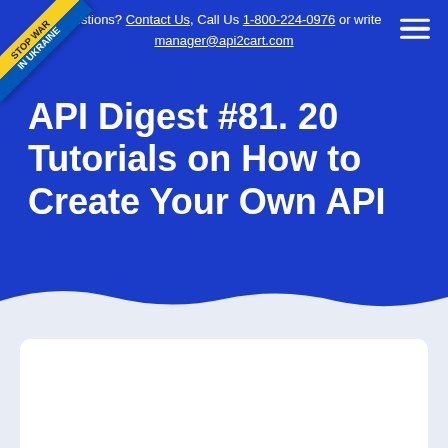Questions? Contact Us, Call Us 1-800-224-0976 or write manager@api2cart.com
API Digest #81. 20 Tutorials on How to Create Your Own API
[Figure (other): White card placeholder in light blue-grey content area below the hero section]